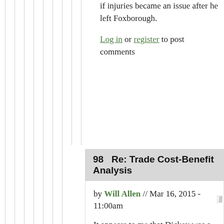if injuries became an issue after he left Foxborough.
Log in or register to post comments
98   Re: Trade Cost-Benefit Analysis
by Will Allen // Mar 16, 2015 - 11:00am
It appears to me that Dickey was a backup in Houston, the first four years in his career, and not injured. In Green Bay I'm not